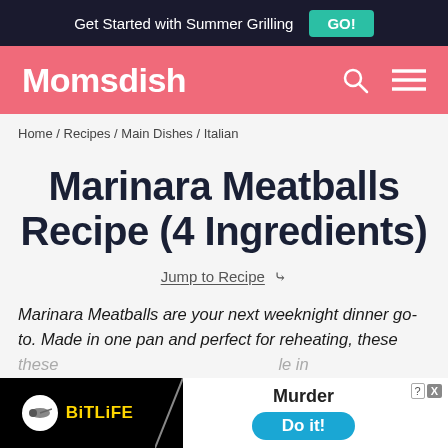Get Started with Summer Grilling GO!
Momsdish
Home / Recipes / Main Dishes / Italian
Marinara Meatballs Recipe (4 Ingredients)
Jump to Recipe ≫
Marinara Meatballs are your next weeknight dinner go-to. Made in one pan and perfect for reheating, these                                                                                      le in
[Figure (screenshot): BitLife mobile game advertisement banner at the bottom of the page, showing the BitLife logo on a black background on the left, and a white panel on the right showing 'Murder' text, a 'Do it!' blue button, and a close/help button.]